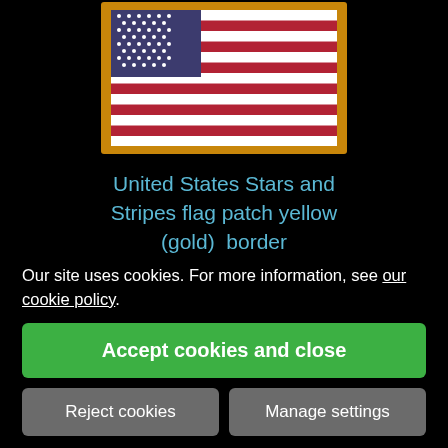[Figure (photo): American flag embroidered patch with yellow (gold) border on a black background, partially visible at top of page]
United States Stars and Stripes flag patch yellow (gold) border
£5.00
VIEW DETAILS
Our site uses cookies. For more information, see our cookie policy.
Accept cookies and close
Reject cookies
Manage settings